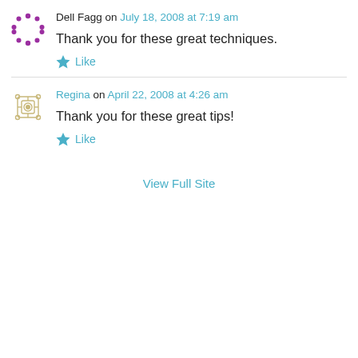Dell Fagg on July 18, 2008 at 7:19 am
Thank you for these great techniques.
Like
Regina on April 22, 2008 at 4:26 am
Thank you for these great tips!
Like
View Full Site